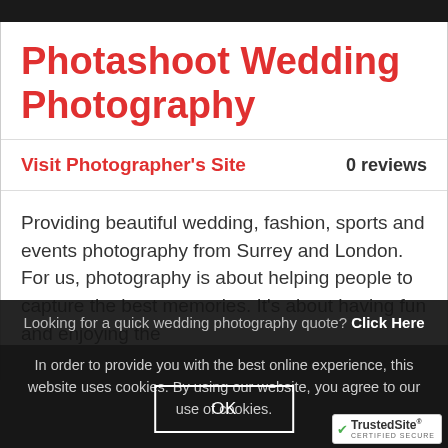Photashoot Wedding Photography
Visit Photographer's Site   0 reviews
Providing beautiful wedding, fashion, sports and events photography from Surrey and London. For us, photography is about helping people to capture the best memories. It's about having fun and enjoying the
Looking for a quick wedding photography quote? Click Here
In order to provide you with the best online experience, this website uses cookies. By using our website, you agree to our use of cookies.
OK
[Figure (logo): TrustedSite Certified Secure logo]